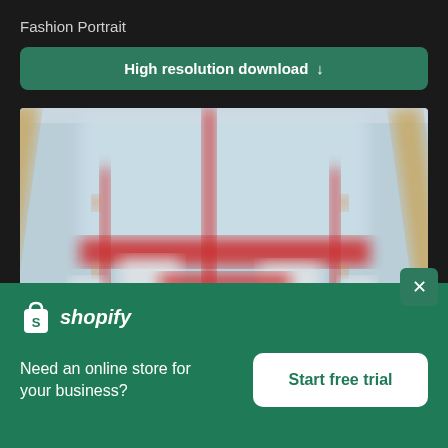Fashion Portrait
High resolution download ↓
[Figure (photo): Blurred construction or industrial scene with red metalwork, white and light blue background elements, viewed from below. Image is blurred/unfocused.]
[Figure (logo): Shopify logo — white shopping bag icon with letter S, followed by italic bold text 'shopify' in white]
Need an online store for your business?
Start free trial